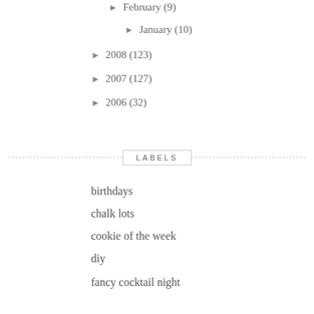► February (9)
► January (10)
► 2008 (123)
► 2007 (127)
► 2006 (32)
LABELS
birthdays
chalk lots
cookie of the week
diy
fancy cocktail night